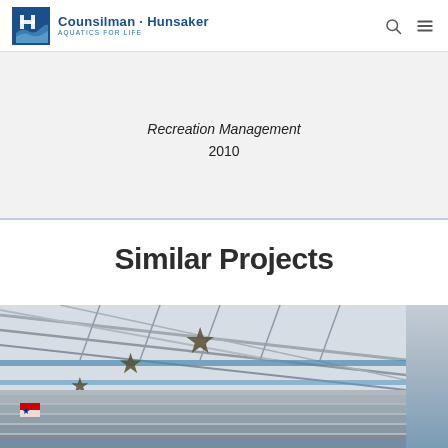Counsilman · Hunsaker AQUATICS FOR LIFE
Recreation Management
2010
Similar Projects
[Figure (photo): Interior view of an aquatic facility showing metal truss roof structure with star decorations, bleachers, and a Texas flag. A second partial photo is visible on the right edge.]